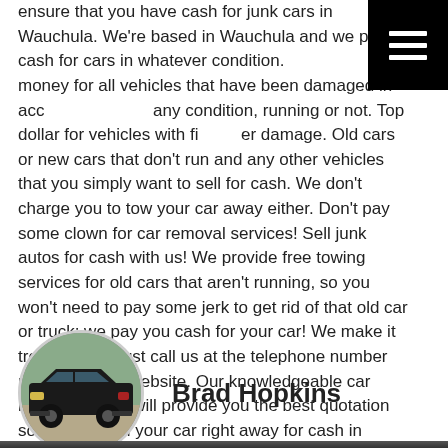ensure that you have cash for junk cars in Wauchula. We're based in Wauchula and we pay cash for cars in whatever condition. most money for all vehicles that have been damaged in acc any condition, running or not. Top dollar for vehicles with fi er damage. Old cars or new cars that don't run and any other vehicles that you simply want to sell for cash. We don't charge you to tow your car away either. Don't pay some clown for car removal services! Sell junk autos for cash with us! We provide free towing services for old cars that aren't running, so you won't need to pay some jerk to get rid of that old car or truck; we pay you cash for your car! We make it trouble-free. Just call us at the telephone number posted on this website. Our knowledgeable car buying experts will provide you the best quotation so you can sell your car right away for cash in Wauchula.
[Figure (photo): Circular profile photo of a dark SUV/truck (black vehicle) parked outdoors, used as author avatar]
Brad Hopkins